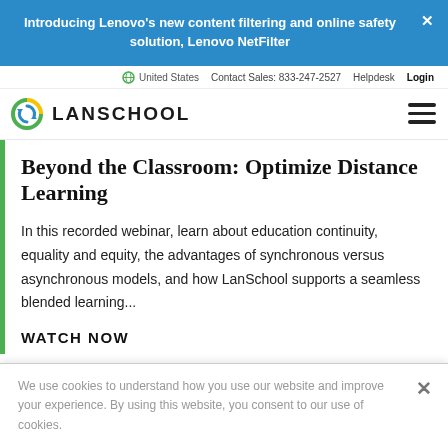Introducing Lenovo's new content filtering and online safety solution, Lenovo NetFilter
United States  Contact Sales: 833-247-2527  Helpdesk  Login
[Figure (logo): LanSchool logo with circular icon and text LANSCHOOL]
Beyond the Classroom: Optimize Distance Learning
In this recorded webinar, learn about education continuity, equality and equity, the advantages of synchronous versus asynchronous models, and how LanSchool supports a seamless blended learning...
WATCH NOW
We use cookies to understand how you use our website and improve your experience. By using this website, you consent to our use of cookies.